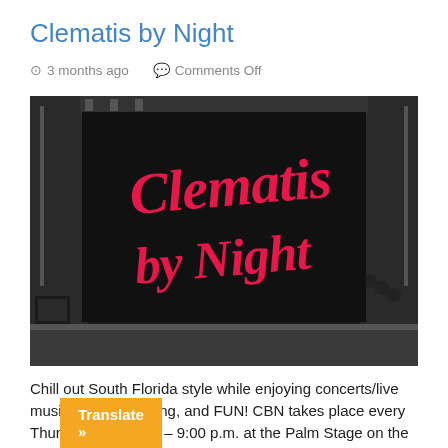Clematis by Night
3 months ago   Comments Off
[Figure (photo): A large black banner/backdrop on an outdoor stage displaying the 'Clematis by Night' logo in pink/red cursive script lettering, with stage rigging and blue sky visible in the background.]
Chill out South Florida style while enjoying concerts/live music, food, shopping, and FUN!  CBN takes place every Thursday from  6:00 – 9:00 p.m. at the Palm Stage on the Great Lawn in downtown West Palm Beach. CBN Weekly Entertainment Schedule August 4: On the Roxx > 80's Tribute August 11: ...
Translate »